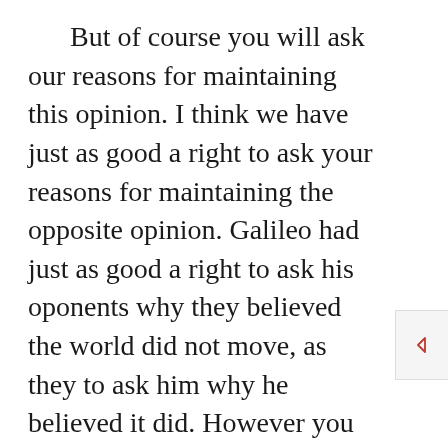But of course you will ask our reasons for maintaining this opinion. I think we have just as good a right to ask your reasons for maintaining the opposite opinion. Galileo had just as good a right to ask his oponents why they believed the world did not move, as they to ask him why he believed it did. However you ask for our reasons, and I shall endeavour to give those reasons as clearly and as briefly as I can. We ought to have good reasons, because I can assure you it has never been much to our secular comfort and